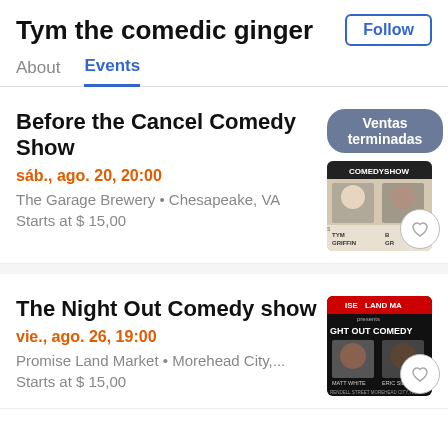Tym the comedic ginger
Follow
About
Events
Before the Cancel Comedy Show
Ventas terminadas
sáb., ago. 20, 20:00
The Garage Brewery • Chesapeake, VA
Starts at $ 15,00
[Figure (photo): Event flyer for Before the Cancel Comedy Show featuring Tym Griffin and other performers]
The Night Out Comedy show
vie., ago. 26, 19:00
Promise Land Market • Morehead City,...
Starts at $ 15,00
[Figure (photo): Event flyer for The Night Out Comedy show at Promise Land Market featuring Matt White and Eric Sidosse]